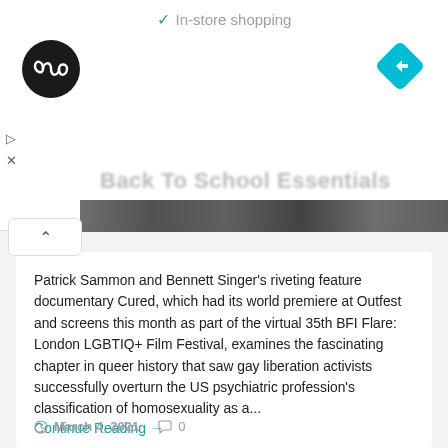✓ In-store shopping
[Figure (logo): Black circle logo with white infinity/loop symbol inside]
[Figure (logo): Blue diamond navigation arrow icon]
Back To School Essentials
Patrick Sammon and Bennett Singer's riveting feature documentary Cured, which had its world premiere at Outfest and screens this month as part of the virtual 35th BFI Flare: London LGBTIQ+ Film Festival, examines the fascinating chapter in queer history that saw gay liberation activists successfully overturn the US psychiatric profession's classification of homosexuality as a...
Continue Reading →
March 4, 2021   0